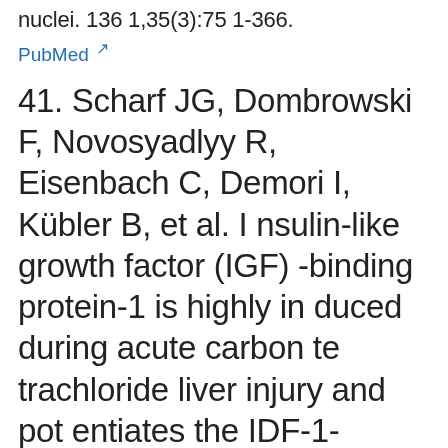nuclei. 136 1,35(3):75 1-366.
PubMed
41. Scharf JG, Dombrowski F, Novosyadlyy R, Eisenbach C, Demori I, Kübler B, et al. Insulin-like growth factor (IGF)-binding protein-1 is highly induced during acute carbon tetrachloride liver injury and potentiates the IDF-1-stimulated activation of rat hepatic stellate cells. Endocrinology 2004;145(7):3463-3472.